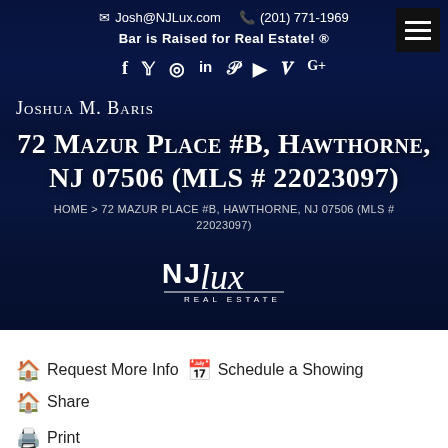Josh@NJLux.com  (201) 771-1969  Bar is Raised for Real Estate! ®
[Figure (logo): NJLux Real Estate logo with stylized script lettering in white on dark background]
Joshua M. Baris
72 MAZUR PLACE #B, HAWTHORNE, NJ 07506 (MLS # 22023097)
HOME > 72 MAZUR PLACE #B, HAWTHORNE, NJ 07506 (MLS # 22023097)
🏠 Request More Info
📅 Schedule a Showing
🏠 Share
🖨️ Print